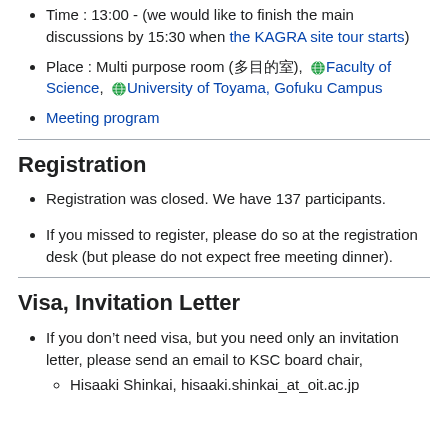Time : 13:00 - (we would like to finish the main discussions by 15:30 when the KAGRA site tour starts)
Place : Multi purpose room (多目的室), Faculty of Science, University of Toyama, Gofuku Campus
Meeting program
Registration
Registration was closed. We have 137 participants.
If you missed to register, please do so at the registration desk (but please do not expect free meeting dinner).
Visa, Invitation Letter
If you don't need visa, but you need only an invitation letter, please send an email to KSC board chair,
Hisaaki Shinkai, hisaaki.shinkai_at_oit.ac.jp